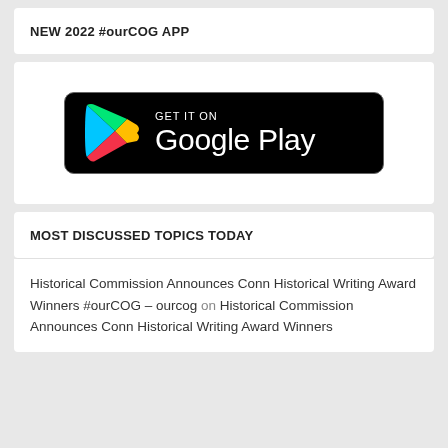NEW 2022 #ourCOG APP
[Figure (logo): Google Play Store badge — black rounded rectangle with Google Play triangle logo (multicolor: blue, green, yellow, red) on the left, and white text 'GET IT ON' above 'Google Play' on the right.]
MOST DISCUSSED TOPICS TODAY
Historical Commission Announces Conn Historical Writing Award Winners #ourCOG – ourcog on Historical Commission Announces Conn Historical Writing Award Winners